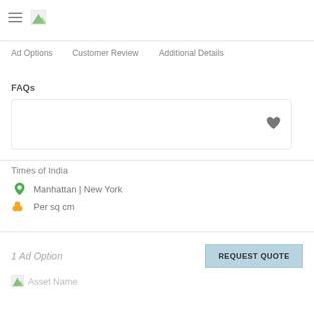≡ [logo]
Ad Options   Customer Review   Additional Details
FAQs
[Figure (other): Empty card with a heart icon on the right]
Times of India
Manhattan | New York
Per sq cm
1 Ad Option
REQUEST QUOTE
Asset Name